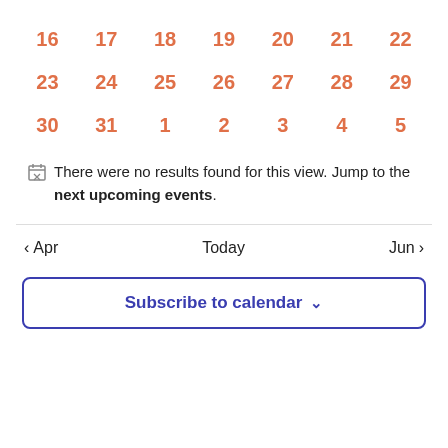| 16 | 17 | 18 | 19 | 20 | 21 | 22 |
| 23 | 24 | 25 | 26 | 27 | 28 | 29 |
| 30 | 31 | 1 | 2 | 3 | 4 | 5 |
There were no results found for this view. Jump to the next upcoming events.
< Apr    Today    Jun >
Subscribe to calendar ∨